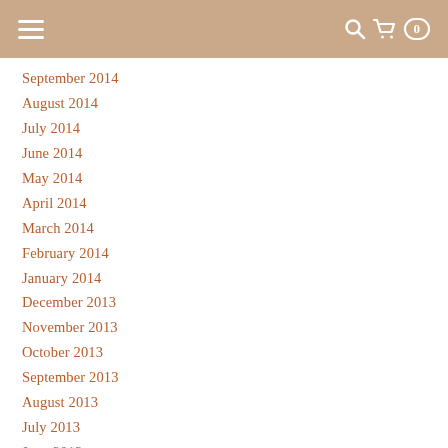Navigation header with hamburger menu and cart icon
September 2014
August 2014
July 2014
June 2014
May 2014
April 2014
March 2014
February 2014
January 2014
December 2013
November 2013
October 2013
September 2013
August 2013
July 2013
June 2013
May 2013
April 2013
March 2013